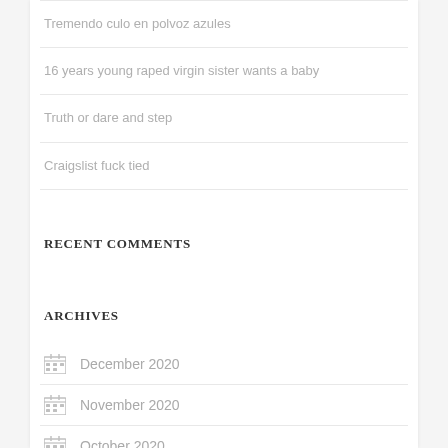Tremendo culo en polvoz azules
16 years young raped virgin sister wants a baby
Truth or dare and step
Craigslist fuck tied
RECENT COMMENTS
ARCHIVES
December 2020
November 2020
October 2020